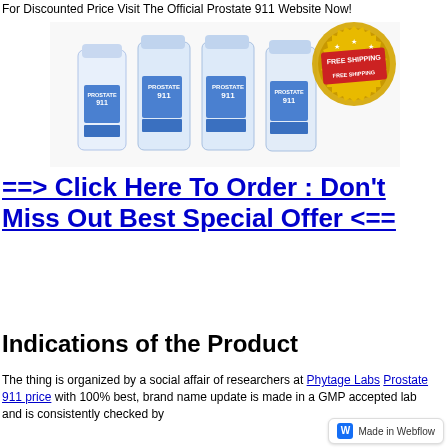For Discounted Price Visit The Official Prostate 911 Website Now!
[Figure (photo): Four Prostate 911 supplement bottles arranged in a row with a gold 'Free Shipping' badge in the top right corner. The bottles are white/blue with 'PROSTATE 911' labeling.]
==> Click Here To Order : Don't Miss Out Best Special Offer <==
Indications of the Product
The thing is organized by a social affair of researchers at Phytage Labs Prostate 911 price with 100% best, brand name update is made in a GMP accepted lab and is consistently checked by